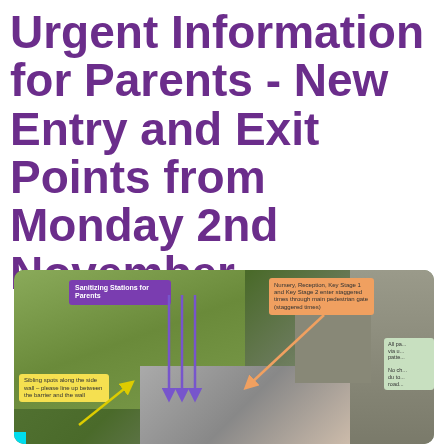Urgent Information for Parents - New Entry and Exit Points from Monday 2nd November
[Figure (map): Aerial/satellite view map of a school showing new entry and exit points with annotated arrows and callout boxes. Purple callout: 'Sanitizing Stations for Parents'. Orange callout: 'Nursery, Reception, Key Stage 1 and Key Stage 2 enter staggered times through main pedestrian gate (staggered times)'. Yellow callout: 'Sibling spots along the side wall – please line up between the barrier and the wall'. Green callout on right edge partially visible. Purple/blue arrows showing pedestrian routes. Orange arrow pointing toward main gate. Yellow arrow at bottom left.]